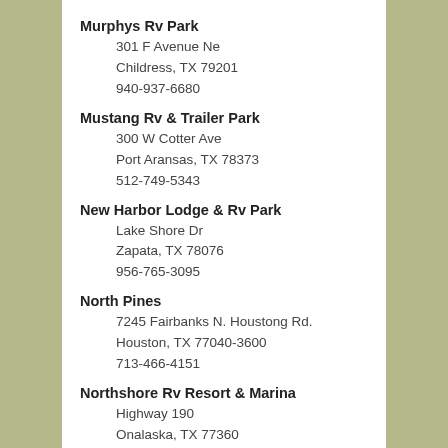Murphys Rv Park
301 F Avenue Ne
Childress, TX 79201
940-937-6680
Mustang Rv & Trailer Park
300 W Cotter Ave
Port Aransas, TX 78373
512-749-5343
New Harbor Lodge & Rv Park
Lake Shore Dr
Zapata, TX 78076
956-765-3095
North Pines
7245 Fairbanks N. Houstong Rd.
Houston, TX 77040-3600
713-466-4151
Northshore Rv Resort & Marina
Highway 190
Onalaska, TX 77360
936-646-3124